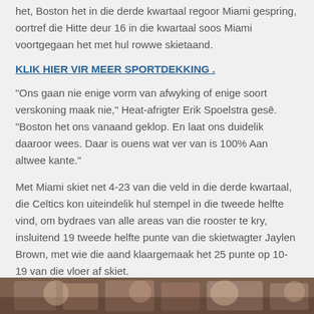het, Boston het in die derde kwartaal regoor Miami gespring, oortref die Hitte deur 16 in die kwartaal soos Miami voortgegaan het met hul rowwe skietaand.
KLIK HIER VIR MEER SPORTDEKKING .
“Ons gaan nie enige vorm van afwyking of enige soort verskoning maak nie,” Heat-afrigter Erik Spoelstra gesē. “Boston het ons vanaand geklop. En laat ons duidelik daaroor wees. Daar is ouens wat ver van is 100% Aan altwee kante.”
Met Miami skiet net 4-23 van die veld in die derde kwartaal, die Celtics kon uiteindelik hul stempel in die tweede helfte vind, om bydraes van alle areas van die rooster te kry, insluitend 19 tweede helfte punte van die skietwagter Jaylen Brown, met wie die aand klaargemaak het 25 punte op 10-19 van die vloer af skiet.
[Figure (photo): Crowd photo at a sports event, partially visible at the bottom of the page]